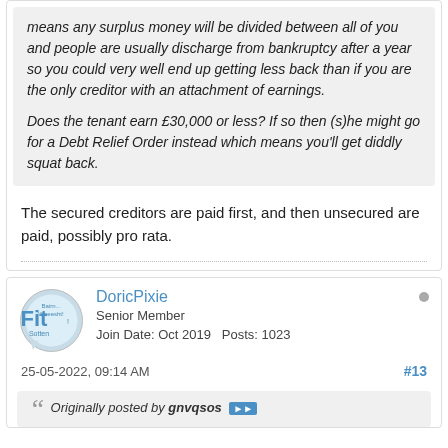means any surplus money will be divided between all of you and people are usually discharge from bankruptcy after a year so you could very well end up getting less than if you are the only creditor with an attachment of earnings.

Does the tenant earn £30,000 or less? If so then (s)he might go for a Debt Relief Order instead which means you'll get diddly squat back.
The secured creditors are paid first, and then unsecured are paid, possibly pro rata.
DoricPixie
Senior Member
Join Date: Oct 2019   Posts: 1023
25-05-2022, 09:14 AM
#13
Originally posted by gnvqsos